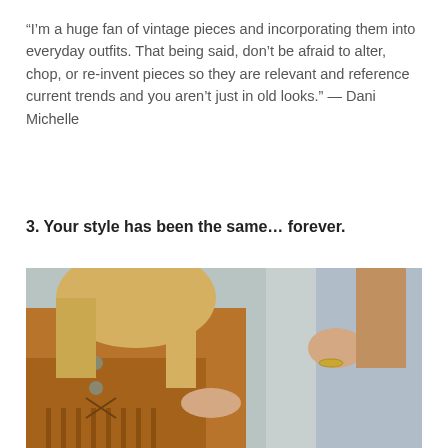“I’m a huge fan of vintage pieces and incorporating them into everyday outfits. That being said, don’t be afraid to alter, chop, or re-invent pieces so they are relevant and reference current trends and you aren’t just in old looks.” — Dani Michelle
3. Your style has been the same… forever.
[Figure (photo): Two women talking outdoors. The woman on the left has long blonde hair and wears a brown suede fringed jacket. The woman on the right wears a light blue sweater and has a gold bracelet on her wrist. Both have their hands gesturing in conversation.]